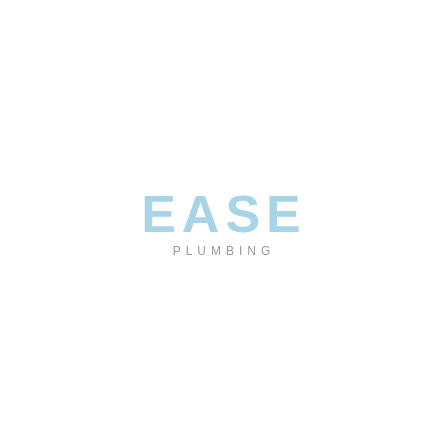[Figure (logo): Ease Plumbing company logo. 'EASE' in large light blue bold uppercase letters with wide letter-spacing, and 'PLUMBING' in small grey uppercase letters with wide tracking below.]